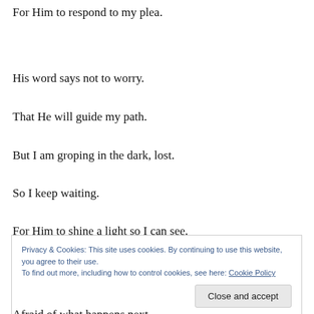For Him to respond to my plea.
His word says not to worry.
That He will guide my path.
But I am groping in the dark, lost.
So I keep waiting.
For Him to shine a light so I can see.
Privacy & Cookies: This site uses cookies. By continuing to use this website, you agree to their use. To find out more, including how to control cookies, see here: Cookie Policy
Close and accept
Afraid of what happens next.